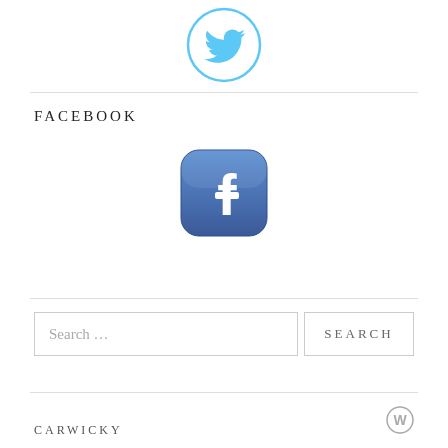[Figure (logo): Twitter bird logo in blue circle]
FACEBOOK
[Figure (logo): Facebook app icon with white 'f' on blue rounded square background]
Search …
SEARCH
CARWICKY
[Figure (logo): WordPress logo icon]